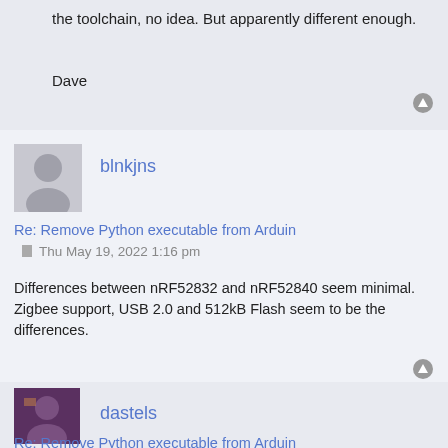the toolchain, no idea. But apparently different enough.
Dave
blnkjns
Re: Remove Python executable from Arduin
Thu May 19, 2022 1:16 pm
Differences between nRF52832 and nRF52840 seem minimal. Zigbee support, USB 2.0 and 512kB Flash seem to be the differences.
dastels
Re: Remove Python executable from Arduin
Thu May 19, 2022 1:52 pm
That says nothing about potential differences in the